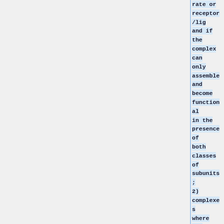rate or receptor/ligand if the complex can only assemble and become functional in the presence of both classes of subunits; 2) complexes where one of the members has not been shown to be physically linked to